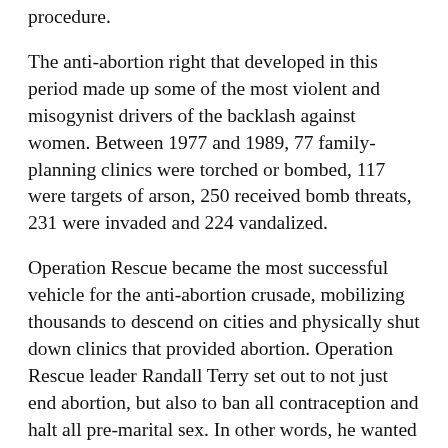procedure.
The anti-abortion right that developed in this period made up some of the most violent and misogynist drivers of the backlash against women. Between 1977 and 1989, 77 family-planning clinics were torched or bombed, 117 were targets of arson, 250 received bomb threats, 231 were invaded and 224 vandalized.
Operation Rescue became the most successful vehicle for the anti-abortion crusade, mobilizing thousands to descend on cities and physically shut down clinics that provided abortion. Operation Rescue leader Randall Terry set out to not just end abortion, but also to ban all contraception and halt all pre-marital sex. In other words, he wanted to literally send women back into the Dark Ages.
Catholic bishops hired the country's largest public relations firm to launch a multimillion-dollar publicity drive against abortion, and the New York archdiocese opened a number of…